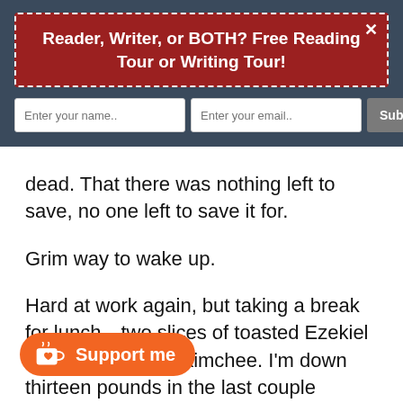Reader, Writer, or BOTH? Free Reading Tour or Writing Tour!
[Figure (screenshot): Email subscription form with name field, email field, and Subscribe Now button on dark blue background]
dead. That there was nothing left to save, no one left to save it for.
Grim way to wake up.
Hard at work again, but taking a break for lunch—two slices of toasted Ezekiel bread, tahini, and kimchee. I'm down thirteen pounds in the last couple
[Figure (other): Support me button with Ko-fi cup icon in orange pill shape]
g better than I have in a long time. Discovered that if I focus on eating low-